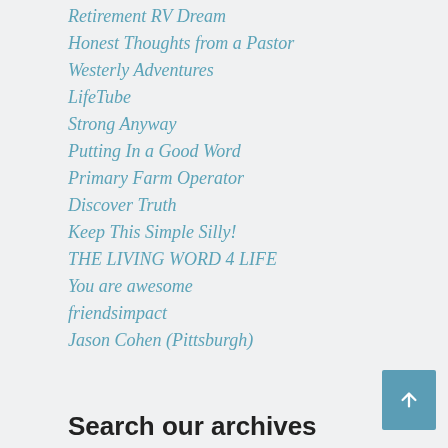Retirement RV Dream
Honest Thoughts from a Pastor
Westerly Adventures
LifeTube
Strong Anyway
Putting In a Good Word
Primary Farm Operator
Discover Truth
Keep This Simple Silly!
THE LIVING WORD 4 LIFE
You are awesome
friendsimpact
Jason Cohen (Pittsburgh)
Search our archives